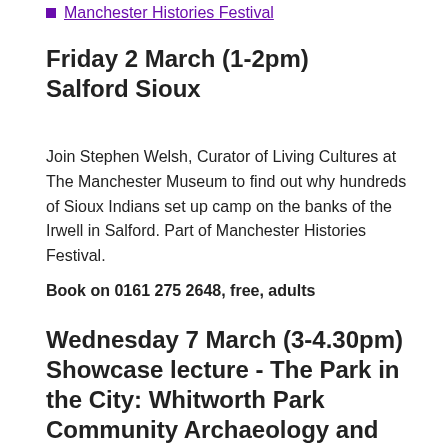Manchester Histories Festival
Friday 2 March (1-2pm)
Salford Sioux
Join Stephen Welsh, Curator of Living Cultures at The Manchester Museum to find out why hundreds of Sioux Indians set up camp on the banks of the Irwell in Salford. Part of Manchester Histories Festival.
Book on 0161 275 2648, free, adults
Wednesday 7 March (3-4.30pm)
Showcase lecture - The Park in the City: Whitworth Park Community Archaeology and History Project
With Hannah Cobb, Melanie Giles and Sian Jones, The University of Manchester.